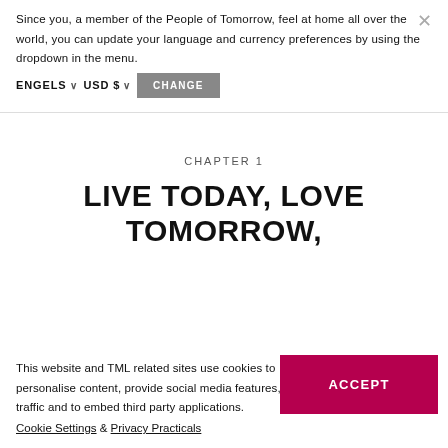Since you, a member of the People of Tomorrow, feel at home all over the world, you can update your language and currency preferences by using the dropdown in the menu.
ENGELS  ∨  USD $  ∨   CHANGE
CHAPTER 1
LIVE TODAY, LOVE TOMORROW,
This website and TML related sites use cookies to personalise content, provide social media features, analyse traffic and to embed third party applications.
Cookie Settings & Privacy Practicals